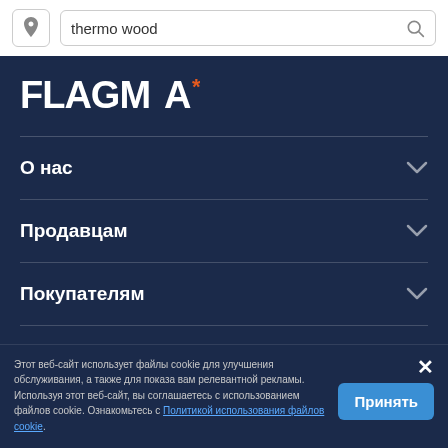thermo wood
[Figure (logo): FLAGMA+ logo in white and orange on dark blue background]
О нас
Продавцам
Покупателям
Другие страны
Этот веб-сайт использует файлы cookie для улучшения обслуживания, а также для показа вам релевантной рекламы. Используя этот веб-сайт, вы соглашаетесь с использованием файлов cookie. Ознакомьтесь с Политикой использования файлов cookie.
Принять